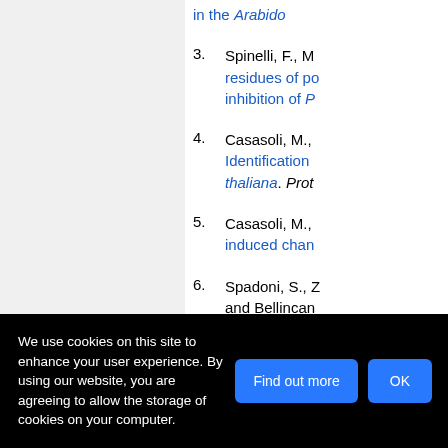in the Arabido...
3. Spinelli, F., M... residues of po... inhibition of P...
4. Casasoli, M., ... Identification... thaliana. Prot...
5. Casasoli, M., ... induced chan...
6. Spadoni, S., Z... and Bellincan... binding site f...
[Figure (other): Loading spinner animation (circular dashed spinner icon)]
We use cookies on this site to enhance your user experience. By using our website, you are agreeing to allow the storage of cookies on your computer.